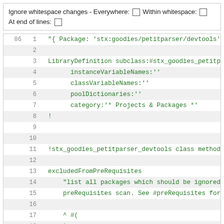Ignore whitespace changes - Everywhere: □ Within whitespace: □ At end of lines: □
[Figure (screenshot): Code viewer showing lines 1-19 of a Smalltalk source file with line numbers, alternating row shading, and green monospace text. Content includes LibraryDefinition subclass definition, instance/class variable names, poolDictionaries, category, and excludedFromPreRequisites method.]